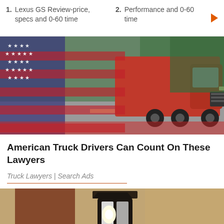1. Lexus GS Review-price, specs and 0-60 time
2. Performance and 0-60 time
[Figure (photo): Red semi truck driving on a highway overlaid with an American flag in the foreground]
American Truck Drivers Can Count On These Lawyers
Truck Lawyers | Search Ads
[Figure (photo): Close-up of an outdoor wall lantern light fixture mounted on a textured stucco wall]